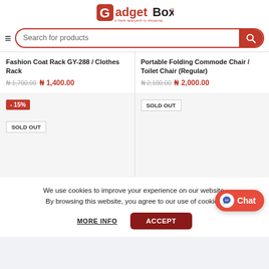GadgetBox - A fresh approach to shopping
Search for products
Fashion Coat Rack GY-288 / Clothes Rack
₦1,700.00 ₦1,400.00
Portable Folding Commode Chair / Toilet Chair (Regular)
₦2,100.00 ₦2,000.00
[Figure (screenshot): Product card with -15% discount badge and SOLD OUT badge, gray background placeholder]
[Figure (screenshot): Product card with SOLD OUT badge, gray background placeholder]
We use cookies to improve your experience on our website. By browsing this website, you agree to our use of cookies.
MORE INFO
ACCEPT